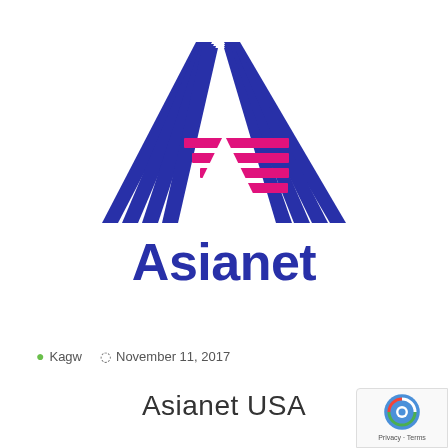[Figure (logo): Asianet logo: blue triangle made of diagonal stripes with pink/magenta horizontal bars on the right side, and the word 'Asianet' in bold blue below]
Kagw   November 11, 2017
Asianet USA